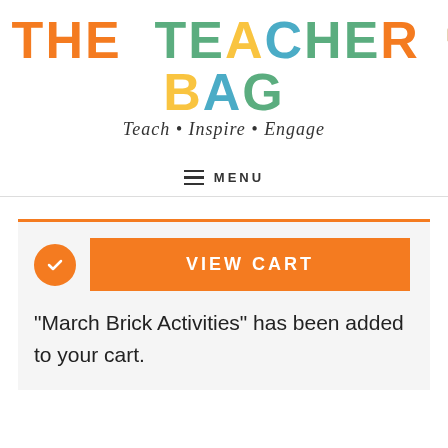[Figure (logo): The Teacher Bag logo with colorful block letters and tagline 'Teach • Inspire • Engage' in cursive script]
MENU
"March Brick Activities" has been added to your cart.